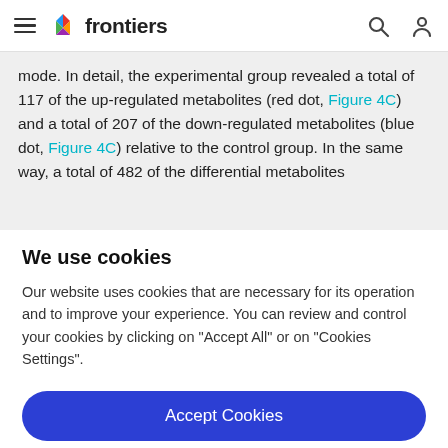frontiers
mode. In detail, the experimental group revealed a total of 117 of the up-regulated metabolites (red dot, Figure 4C) and a total of 207 of the down-regulated metabolites (blue dot, Figure 4C) relative to the control group. In the same way, a total of 482 of the differential metabolites
We use cookies
Our website uses cookies that are necessary for its operation and to improve your experience. You can review and control your cookies by clicking on "Accept All" or on "Cookies Settings".
Accept Cookies
Cookies Settings